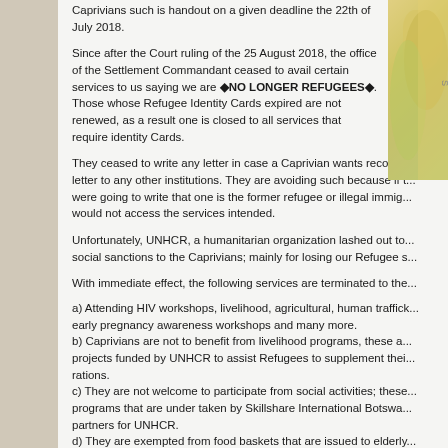Caprivians such is handout on a given deadline the 22th of July 2018.
Since after the Court ruling of the 25 August 2018, the office of the Settlement Commandant ceased to avail certain services to us saying we are  NO LONGER REFUGEES . Those whose Refugee Identity Cards expired are not renewed, as a result one is closed to all services that require identity Cards.
They ceased to write any letter in case a Caprivian wants recomm... letter to any other institutions. They are avoiding such because if t... were going to write that one is the former refugee or illegal immig... would not access the services intended.
Unfortunately, UNHCR, a humanitarian organization lashed out to... social sanctions to the Caprivians; mainly for losing our Refugee s...
With immediate effect, the following services are terminated to the...
a) Attending HIV workshops, livelihood, agricultural, human traffic... early pregnancy awareness workshops and many more.
b) Caprivians are not to benefit from livelihood programs, these a... projects funded by UNHCR to assist Refugees to supplement thei... rations.
c) They are not welcome to participate from social activities; these... programs that are under taken by Skillshare International Botswa... partners for UNHCR.
d) They are exempted from food baskets that are issued to elderly...
e) They are exempted from benefiting eyeglasses/spectacles in c... problems.
f) They are exempted from volunteer piece jobs in the Camp that ... UNHCR.
g) Exempted from special health cases that needs referral to priva...
The UNHCR staff says, they will only allow the monthly food ratio... going kids to continue.
It is true, we say we are punished because we are termed to have...